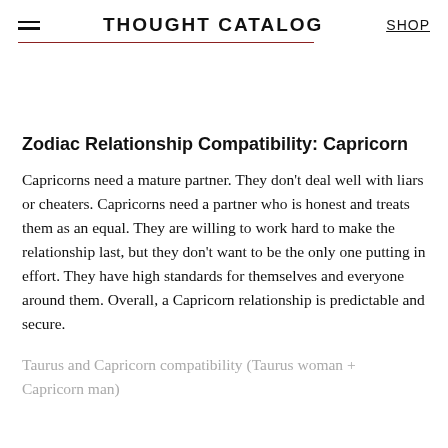THOUGHT CATALOG   SHOP
Zodiac Relationship Compatibility: Capricorn
Capricorns need a mature partner. They don't deal well with liars or cheaters. Capricorns need a partner who is honest and treats them as an equal. They are willing to work hard to make the relationship last, but they don't want to be the only one putting in effort. They have high standards for themselves and everyone around them. Overall, a Capricorn relationship is predictable and secure.
Taurus and Capricorn compatibility (Taurus woman + Capricorn man)